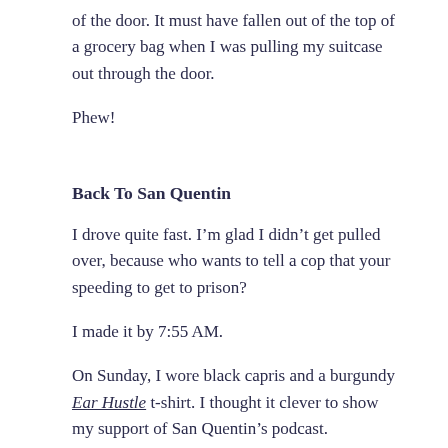of the door. It must have fallen out of the top of a grocery bag when I was pulling my suitcase out through the door.
Phew!
Back To San Quentin
I drove quite fast. I'm glad I didn't get pulled over, because who wants to tell a cop that your speeding to get to prison?
I made it by 7:55 AM.
On Sunday, I wore black capris and a burgundy Ear Hustle t-shirt. I thought it clever to show my support of San Quentin's podcast.